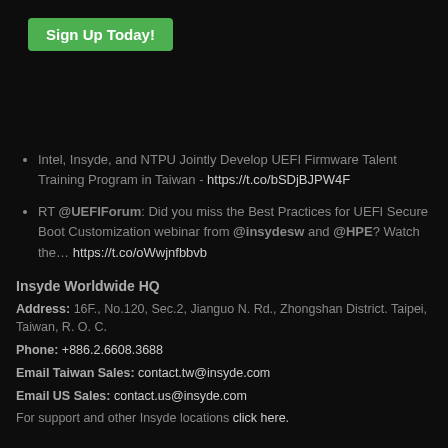[Figure (other): Green 'Sign Up Today!' button]
Intel, Insyde, and NTPU Jointly Develop UEFI Firmware Talent Training Program in Taiwan - https://t.co/bSDjBJPW4F
RT @UEFIForum: Did you miss the Best Practices for UEFI Secure Boot Customization webinar from @insydesw and @HPE? Watch the… https://t.co/oWwjnfbbvb
Insyde Worldwide HQ
Address: 16F., No.120, Sec.2, Jianguo N. Rd., Zhongshan District. Taipei, Taiwan, R. O. C.
Phone: +886.2.6608.3688
Email Taiwan Sales: contact.tw@insyde.com
Email US Sales: contact.us@insyde.com
For support and other Insyde locations click here.